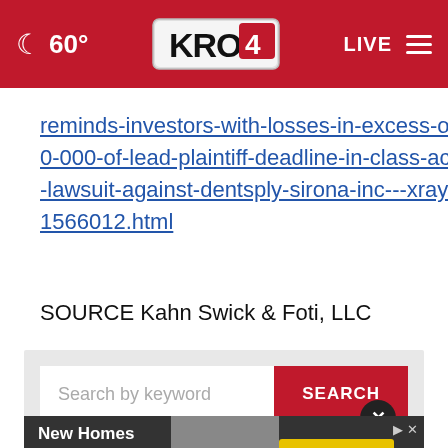60° KRON4 LIVE
reminds-investors-with-losses-in-excess-of-100-000-of-lead-plaintiff-deadline-in-class-action-lawsuit-against-dentsply-sirona-inc---xray-301566012.html
SOURCE Kahn Swick & Foti, LLC
[Figure (screenshot): Search bar with 'Search by keyword' placeholder and red SEARCH button, with a close (X) button overlay]
[Figure (screenshot): Advertisement banner: New Homes From $277k in Northwest Indiana - Explore Homes]